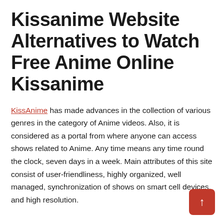Kissanime Website Alternatives to Watch Free Anime Online Kissanime
KissAnime has made advances in the collection of various genres in the category of Anime videos. Also, it is considered as a portal from where anyone can access shows related to Anime. Any time means any time round the clock, seven days in a week. Main attributes of this site consist of user-friendliness, highly organized, well managed, synchronization of shows on smart cell devices, and high resolution.